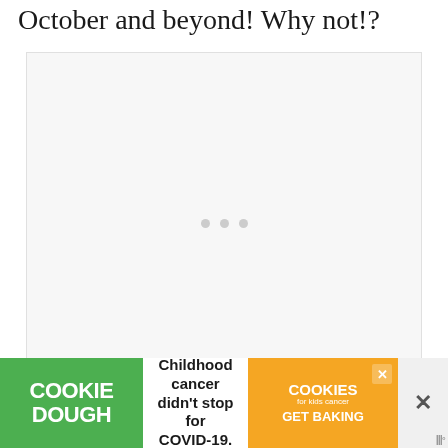October and beyond! Why not!?
[Figure (other): Embedded media player or video embed box with three loading dots in center, and a watermark logo at bottom right]
[Figure (other): Advertisement banner for Cookie Dough / cookies for kids cancer. Green background with 'COOKIE DOUGH' text on left, white center with 'Childhood cancer didn't stop for COVID-19.' text, orange right panel with 'cookies for kids cancer GET BAKING', and close X button on far right with WW logo.]